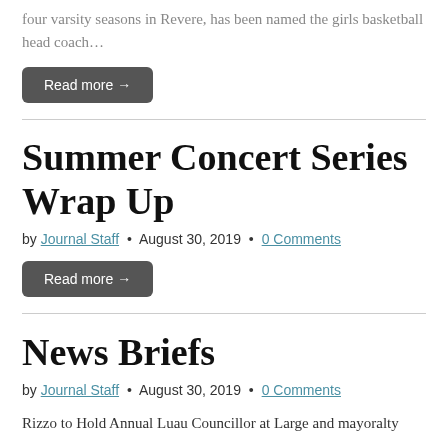four varsity seasons in Revere, has been named the girls basketball head coach…
Read more →
Summer Concert Series Wrap Up
by Journal Staff • August 30, 2019 • 0 Comments
Read more →
News Briefs
by Journal Staff • August 30, 2019 • 0 Comments
Rizzo to Hold Annual Luau Councillor at Large and mayoralty